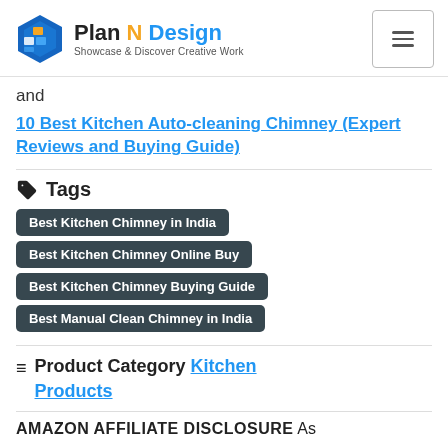Plan N Design — Showcase & Discover Creative Work
and 10 Best Kitchen Auto-cleaning Chimney (Expert Reviews and Buying Guide)
Tags
Best Kitchen Chimney in India
Best Kitchen Chimney Online Buy
Best Kitchen Chimney Buying Guide
Best Manual Clean Chimney in India
Product Category Kitchen Products
AMAZON AFFILIATE DISCLOSURE As